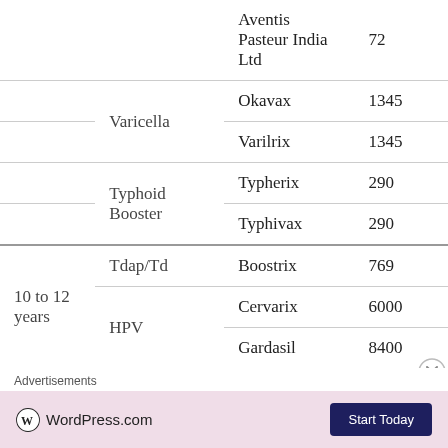| Age | Vaccine | Brand | Price |
| --- | --- | --- | --- |
|  |  | Aventis Pasteur India Ltd | 72 |
|  | Varicella | Okavax | 1345 |
|  | Varicella | Varilrix | 1345 |
|  | Typhoid Booster | Typherix | 290 |
|  | Typhoid Booster | Typhivax | 290 |
| 10 to 12 years | Tdap/Td | Boostrix | 769 |
| 10 to 12 years | HPV | Cervarix | 6000 |
| 10 to 12 years | HPV | Gardasil | 8400 |
Advertisements
[Figure (other): WordPress.com advertisement banner with pink background, WordPress logo, and 'Start Today' dark blue button]